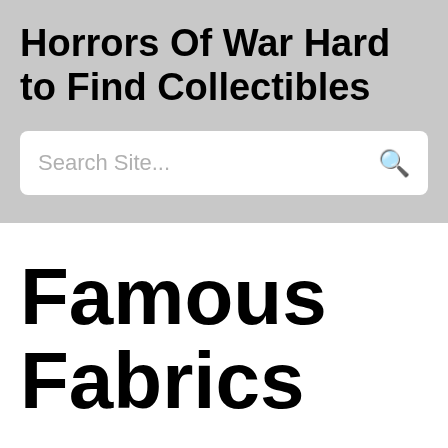Horrors Of War Hard to Find Collectibles
Search Site...
Famous Fabrics